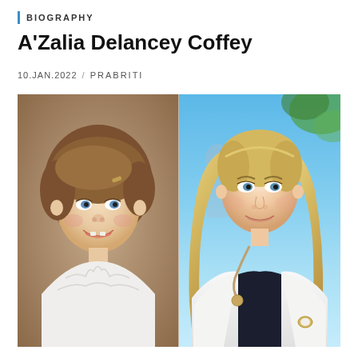BIOGRAPHY
A'Zalia Delancey Coffey
10.JAN.2022 / PRABRITI
[Figure (photo): Side-by-side comparison photo: left side shows a young girl (toddler/child) with brown hair smiling with missing teeth, wearing a white ruffled collar top; right side shows an adult woman with long blonde hair wearing a white medical coat with a stethoscope, photographed outdoors against a blue sky background.]